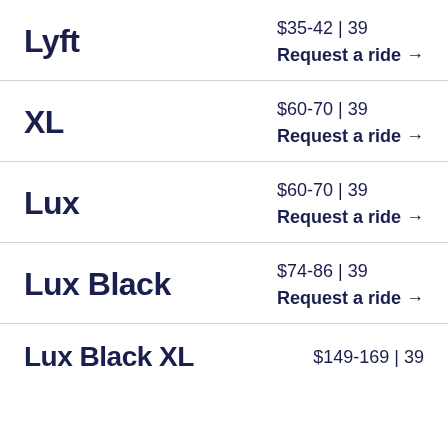Lyft | $35-42 | 39 | Request a ride →
XL | $60-70 | 39 | Request a ride →
Lux | $60-70 | 39 | Request a ride →
Lux Black | $74-86 | 39 | Request a ride →
Lux Black XL | $149-169 | 39 | Request a ride →